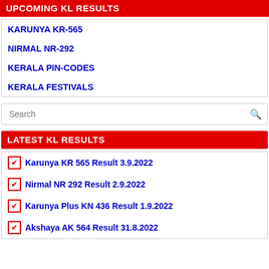UPCOMING KL RESULTS
KARUNYA KR-565
NIRMAL NR-292
KERALA PIN-CODES
KERALA FESTIVALS
Search
LATEST KL RESULTS
Karunya KR 565 Result 3.9.2022
Nirmal NR 292 Result 2.9.2022
Karunya Plus KN 436 Result 1.9.2022
Akshaya AK 564 Result 31.8.2022